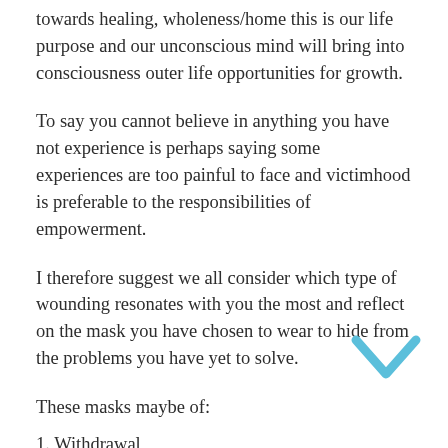towards healing, wholeness/home this is our life purpose and our unconscious mind will bring into consciousness outer life opportunities for growth.
To say you cannot believe in anything you have not experience is perhaps saying some experiences are too painful to face and victimhood is preferable to the responsibilities of empowerment.
I therefore suggest we all consider which type of wounding resonates with you the most and reflect on the mask you have chosen to wear to hide from the problems you have yet to solve.
These masks maybe of:
1. Withdrawal